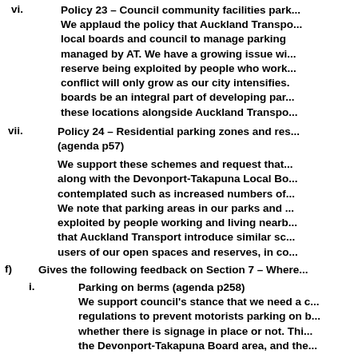vi. Policy 23 – Council community facilities parking. We applaud the policy that Auckland Transport work with local boards and council to manage parking at facilities managed by AT. We have a growing issue with reserve being exploited by people who work... conflict will only grow as our city intensifies. boards be an integral part of developing parking at these locations alongside Auckland Transport.
vii. Policy 24 – Residential parking zones and restrictions (agenda p57) We support these schemes and request that along with the Devonport-Takapuna Local Board contemplated such as increased numbers of residents. We note that parking areas in our parks and reserves are exploited by people working and living nearby. We request that Auckland Transport introduce similar schemes for users of our open spaces and reserves, in consultation...
f) Gives the following feedback on Section 7 – Where...
i. Parking on berms (agenda p258) We support council's stance that we need a clear regulations to prevent motorists parking on berms whether there is signage in place or not. This affects the Devonport-Takapuna Board area, and the...
g) receive the feedback documents from Murray Hill -